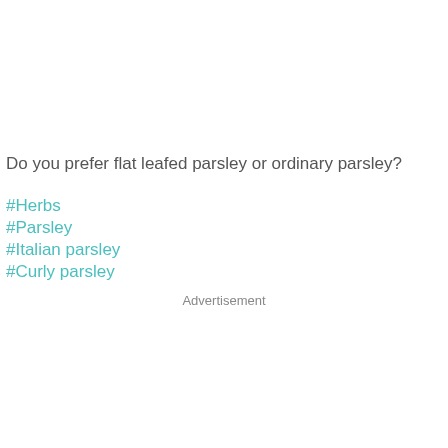Do you prefer flat leafed parsley or ordinary parsley?
#Herbs
#Parsley
#Italian parsley
#Curly parsley
Advertisement